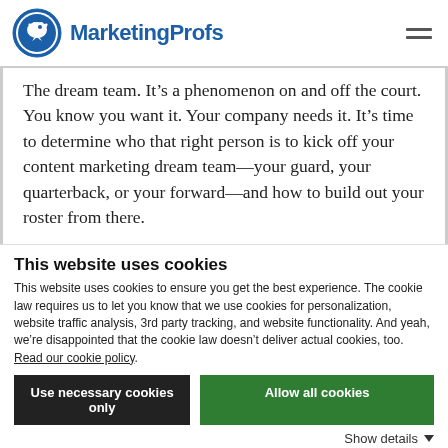MarketingProfs
The dream team. It’s a phenomenon on and off the court. You know you want it. Your company needs it. It’s time to determine who that right person is to kick off your content marketing dream team—your guard, your quarterback, or your forward—and how to build out your roster from there.
This website uses cookies
This website uses cookies to ensure you get the best experience. The cookie law requires us to let you know that we use cookies for personalization, website traffic analysis, 3rd party tracking, and website functionality. And yeah, we’re disappointed that the cookie law doesn’t deliver actual cookies, too. Read our cookie policy.
Use necessary cookies only | Allow all cookies
Show details